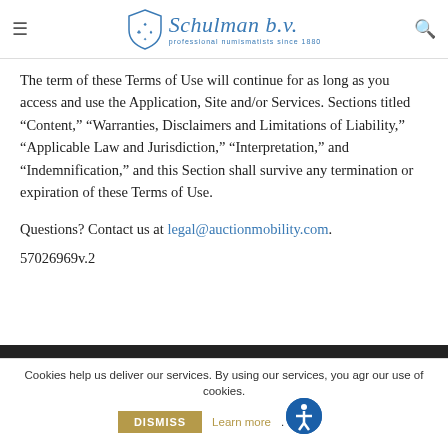Schulman b.v. — professional numismatists since 1880
The term of these Terms of Use will continue for as long as you access and use the Application, Site and/or Services. Sections titled “Content,” “Warranties, Disclaimers and Limitations of Liability,” “Applicable Law and Jurisdiction,” “Interpretation,” and “Indemnification,” and this Section shall survive any termination or expiration of these Terms of Use.
Questions? Contact us at legal@auctionmobility.com.
57026969v.2
BACK TO TOP
Cookies help us deliver our services. By using our services, you agr our use of cookies. DISMISS Learn more.